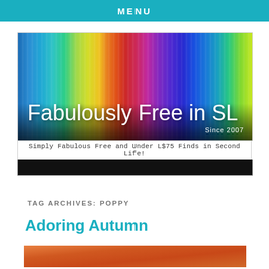MENU
[Figure (screenshot): Fabulously Free in SL blog banner — rainbow vertical streaks background with white text reading 'Fabulously Free in SL' and 'Since 2007', subtitle 'Simply Fabulous Free and Under L$75 Finds in Second Life!' below, followed by a black bar.]
TAG ARCHIVES: POPPY
Adoring Autumn
[Figure (photo): Partial view of a blog post image, cropped at bottom of page — warm orange/brown tones visible.]